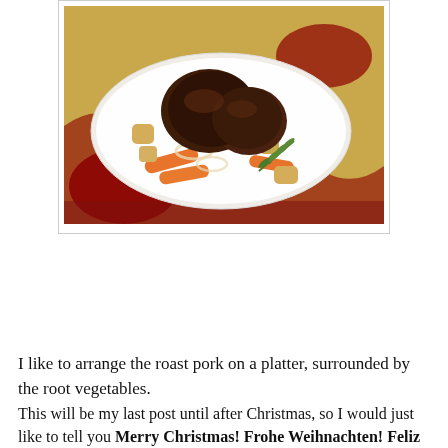[Figure (photo): A white platter with roast pork pieces surrounded by root vegetables including carrots and potatoes, with a sprig of rosemary, placed on a decorative red and gold tablecloth.]
I like to arrange the roast pork on a platter, surrounded by the root vegetables.
This will be my last post until after Christmas, so I would just like to tell you Merry Christmas! Frohe Weihnachten! Feliz Navidad! Joyeux Noel! Buon Natale!  (I didn't mean to leave anyone out, that's just all that I know)